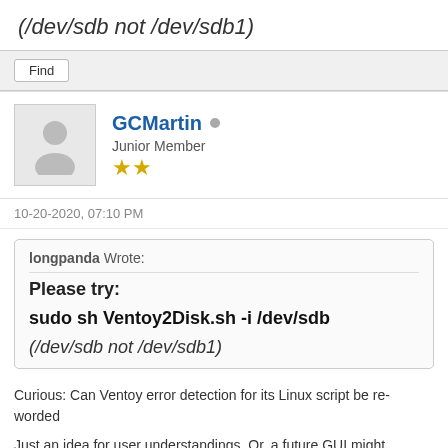(/dev/sdb not /dev/sdb1)
Find
GCMartin  Junior Member ★★
10-20-2020, 07:10 PM
longpanda Wrote:
Please try:
sudo sh Ventoy2Disk.sh -i /dev/sdb
(/dev/sdb not /dev/sdb1)
Curious: Can Ventoy error detection for its Linux script be re-worded
Just an idea for user understandings. Or, a future GUI might alleviate